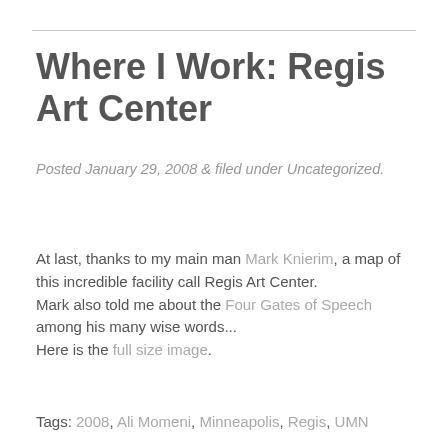Where I Work: Regis Art Center
Posted January 29, 2008 & filed under Uncategorized.
At last, thanks to my main man Mark Knierim, a map of this incredible facility call Regis Art Center.
Mark also told me about the Four Gates of Speech among his many wise words...
Here is the full size image.
Tags: 2008, Ali Momeni, Minneapolis, Regis, UMN